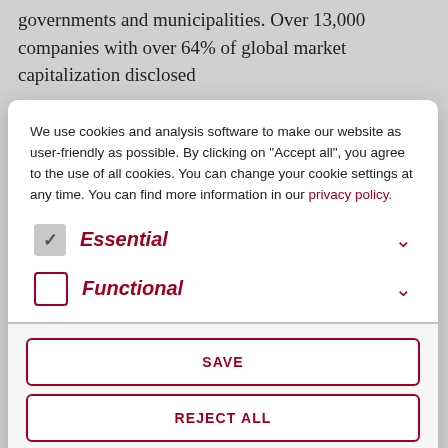governments and municipalities. Over 13,000 companies with over 64% of global market capitalization disclosed
We use cookies and analysis software to make our website as user-friendly as possible. By clicking on "Accept all", you agree to the use of all cookies. You can change your cookie settings at any time. You can find more information in our privacy policy.
Essential (checked, with dropdown chevron)
Functional (unchecked, with dropdown chevron)
SAVE
REJECT ALL
ACCEPT ALL